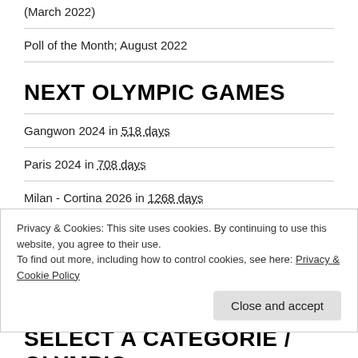(March 2022)
Poll of the Month; August 2022
NEXT OLYMPIC GAMES
Gangwon 2024 in 518 days
Paris 2024 in 708 days
Milan - Cortina 2026 in 1268 days
Privacy & Cookies: This site uses cookies. By continuing to use this website, you agree to their use.
To find out more, including how to control cookies, see here: Privacy & Cookie Policy
Close and accept
SELECT A CATEGORIE / OLYMPIC